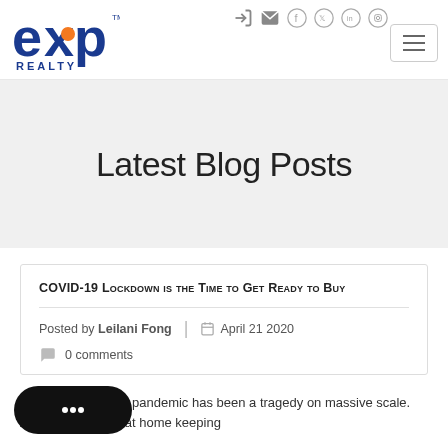[Figure (logo): eXp Realty logo in blue and orange]
Latest Blog Posts
COVID-19 Lockdown is the Time to Get Ready to Buy
Posted by Leilani Fong  |  April 21 2020  |  0 comments
...dwide COVID-19 pandemic has been a tragedy on massive scale. As most of us are at home keeping